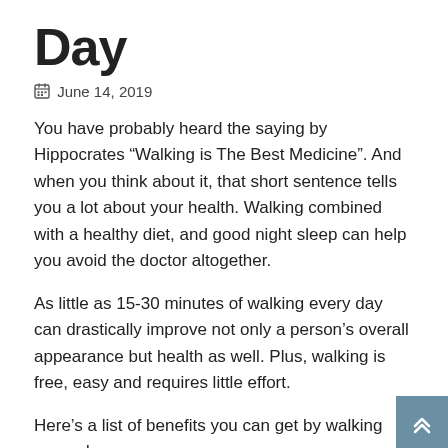Day
June 14, 2019
You have probably heard the saying by Hippocrates “Walking is The Best Medicine”. And when you think about it, that short sentence tells you a lot about your health. Walking combined with a healthy diet, and good night sleep can help you avoid the doctor altogether.
As little as 15-30 minutes of walking every day can drastically improve not only a person’s overall appearance but health as well. Plus, walking is free, easy and requires little effort.
Here’s a list of benefits you can get by walking every day:
1. Positive brain changes